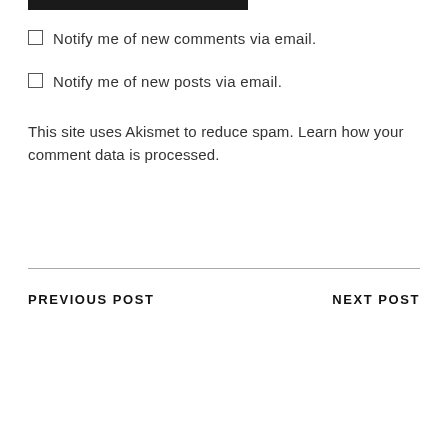[Figure (other): Black horizontal bar at top of page]
Notify me of new comments via email.
Notify me of new posts via email.
This site uses Akismet to reduce spam. Learn how your comment data is processed.
PREVIOUS POST    NEXT POST